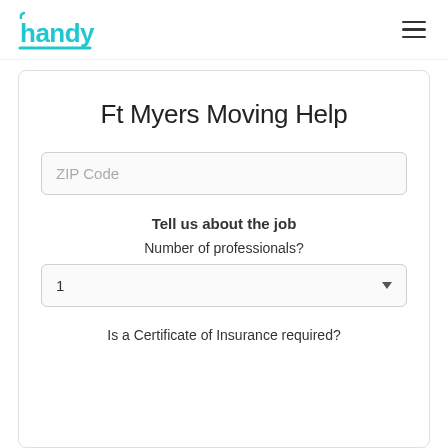[Figure (logo): Handy logo in cyan/teal color with stylized text 'handy' and underline]
Ft Myers Moving Help
ZIP Code
Tell us about the job
Number of professionals?
1
Is a Certificate of Insurance required?